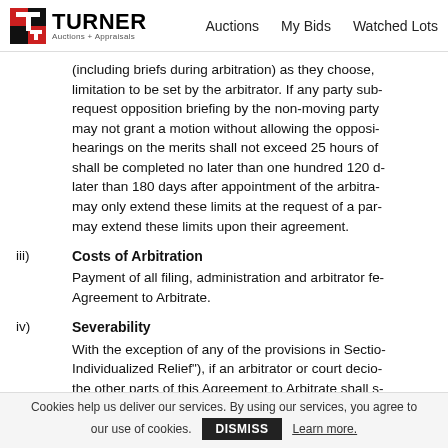Turner Auctions + Appraisals — Auctions   My Bids   Watched Lots
(including briefs during arbitration) as they choose, limitation to be set by the arbitrator. If any party submits a request opposition briefing by the non-moving party may not grant a motion without allowing the opposition hearings on the merits shall not exceed 25 hours of shall be completed no later than one hundred 120 d later than 180 days after appointment of the arbitra may only extend these limits at the request of a par may extend these limits upon their agreement.
iii)   Costs of Arbitration
Payment of all filing, administration and arbitrator fees Agreement to Arbitrate.
iv)   Severability
With the exception of any of the provisions in Section Individualized Relief"), if an arbitrator or court decio the other parts of this Agreement to Arbitrate shall s
v)   Opt-Out Procedure
Cookies help us deliver our services. By using our services, you agree to our use of cookies.  DISMISS  Learn more.